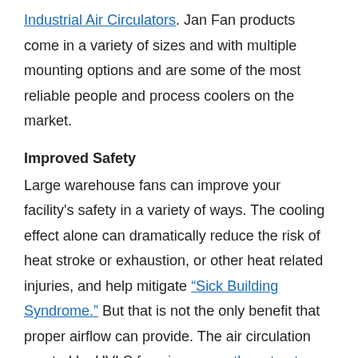Industrial Air Circulators. Jan Fan products come in a variety of sizes and with multiple mounting options and are some of the most reliable people and process coolers on the market.
Improved Safety
Large warehouse fans can improve your facility's safety in a variety of ways. The cooling effect alone can dramatically reduce the risk of heat stroke or exhaustion, or other heat related injuries, and help mitigate “Sick Building Syndrome.” But that is not the only benefit that proper airflow can provide. The air circulation created by HVLS fans increases the rate at which moisture